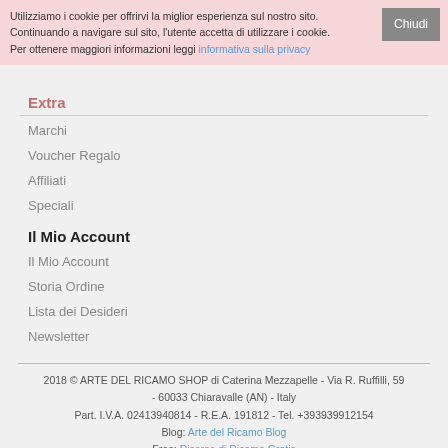Utilizziamo i cookie per offrirvi la miglior esperienza sul nostro sito. Continuando a navigare sul sito, l'utente accetta di utilizzare i cookie. Per ottenere maggiori informazioni leggi informativa sulla privacy
Chiudi
Extra
Marchi
Voucher Regalo
Affiliati
Speciali
Il Mio Account
Il Mio Account
Storia Ordine
Lista dei Desideri
Newsletter
2018 © ARTE DEL RICAMO SHOP di Caterina Mezzapelle - Via R. Ruffilli, 59 - 60033 Chiaravalle (AN) - Italy
Part. I.V.A. 02413940814 - R.E.A. 191812 - Tel. +393939912154
Blog: Arte del Ricamo Blog
Free: Risorse di Ricamo Gratis
on Google Play: